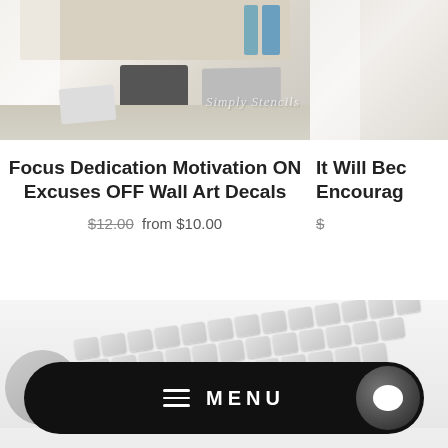[Figure (photo): Photo of a desk workspace with monitor, laptop, and shelving unit with binders]
Focus Dedication Motivation ON Excuses OFF Wall Art Decals
$12.00 from $10.00
[Figure (photo): Partial photo of another product (cut off on right side), text partially visible: It Will Bec... Encourag...]
[Figure (photo): Background photo of a keyboard and mouse on a desk surface]
[Figure (screenshot): Mobile navigation menu bar in black pill shape with hamburger menu icon, MENU text, and chat bubble icon]